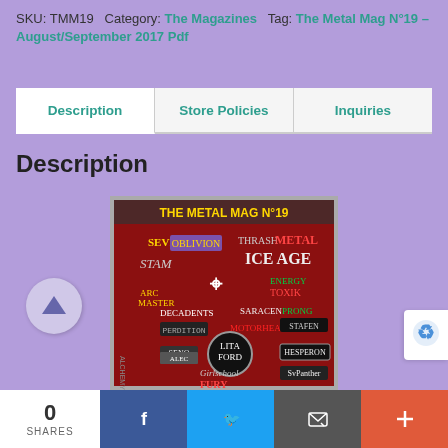SKU: TMM19 Category: The Magazines Tag: The Metal Mag N°19 – August/September 2017 Pdf
Description | Store Policies | Inquiries
Description
[Figure (photo): Cover of The Metal Mag N°19 magazine showing metal band logos on a red background including Lita Ford, Ice Age, Girlschool and others]
0 SHARES